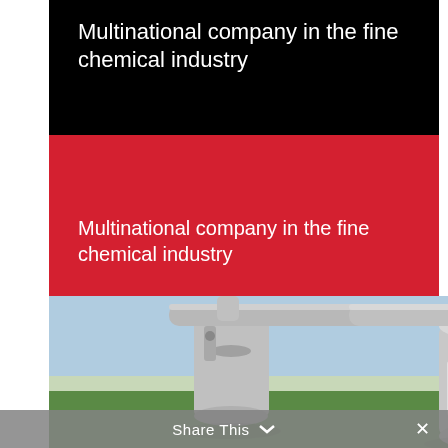Multinational company in the fine chemical industry
Multinational company in the fine chemical industry
[Figure (photo): Industrial chemical facility with large silver tanks and CO2 Solutions logo visible on a cylindrical tank, connected by wide pipes, set against a rural green landscape]
Share This ×